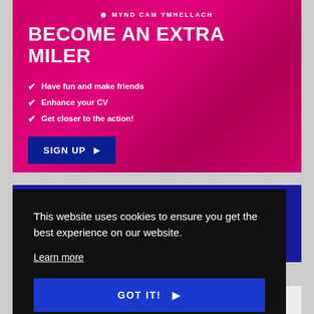MYND CAM YMHELLACH
BECOME AN EXTRA MILER
Have fun and make friends
Enhance your CV
Get closer to the action!
JUNIOR PAGES
This website uses cookies to ensure you get the best experience on our website.
Learn more
GOT IT!